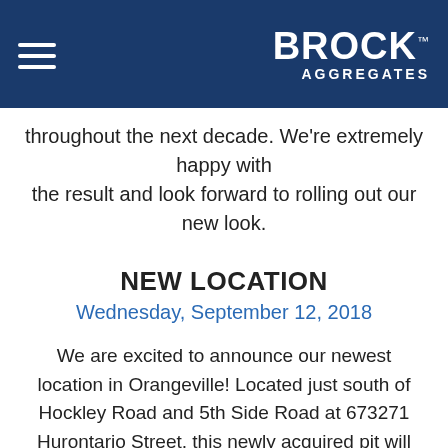BROCK AGGREGATES
throughout the next decade. We're extremely happy with the result and look forward to rolling out our new look.
NEW LOCATION
Wednesday, September 12, 2018
We are excited to announce our newest location in Orangeville! Located just south of Hockley Road and 5th Side Road at 673271 Hurontario Street, this newly acquired pit will produce A Gravel, B Gravel, Concrete Sand and ¾ Round Gravel. We look forward to serving your projects throughout the GTA with this closer to market aggregate source.